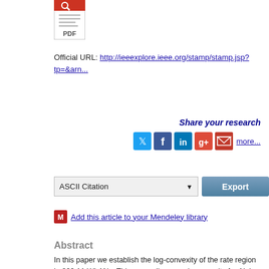[Figure (other): PDF document icon with red top bar and lines of text represented as grey bars]
Official URL: http://ieeexplore.ieee.org/stamp/stamp.jsp?tp=&arn...
Share your research
[Figure (other): Social media sharing icons: Twitter, Facebook, LinkedIn, Google+, Email, and more... link]
ASCII Citation  Export
Add this article to your Mendeley library
Abstract
In this paper we establish the log-convexity of the rate region in 802.11 WLANs. This generalises previous results for Aloha networks and has immediate implications for optimisation based approaches to the analysis and design of 802.11 wireless networks.
Item Type:  Article